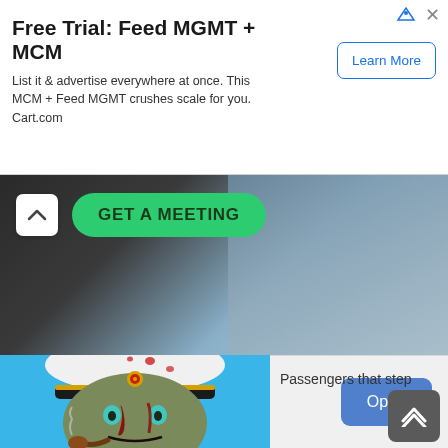[Figure (screenshot): Advertisement banner: Free Trial: Feed MGMT + MCM with Learn More button]
[Figure (screenshot): GET A MEETING banner with green pill button and background photo of person]
Sponsored by
get.apploi.com
[Figure (screenshot): Zombie captain game app icon image - zombie in navy captain hat with blood]
Passengers that step